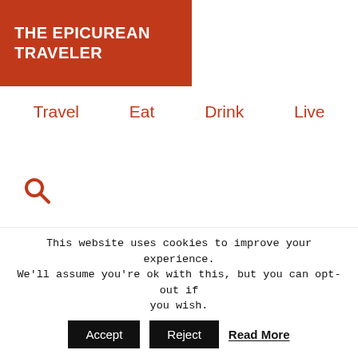THE EPICUREAN TRAVELER
Travel  Eat  Drink  Live
[Figure (other): Search icon (magnifying glass) in red/orange color]
get-together next Sunday, or maybe you're hosting a swanky
This website uses cookies to improve your experience. We'll assume you're ok with this, but you can opt-out if you wish.
Accept   Reject   Read More